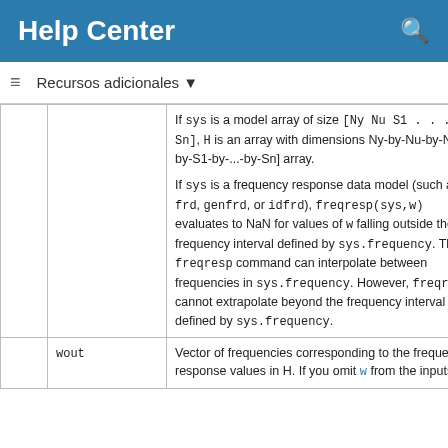Help Center
Recursos adicionales
|  |  | Description |
| --- | --- | --- |
|  |  | If sys is a model array of size [Ny Nu S1 . . . Sn], H is an array with dimensions Ny-by-Nu-by-Nw-by-S1-by-...-by-Sn] array.

If sys is a frequency response data model (such as frd, genfrd, or idfrd), freqresp(sys,w) evaluates to NaN for values of w falling outside the frequency interval defined by sys.frequency. The freqresp command can interpolate between frequencies in sys.frequency. However, freqresp cannot extrapolate beyond the frequency interval defined by sys.frequency. |
|  | wout | Vector of frequencies corresponding to the frequency response values in H. If you omit w from the inputs to |